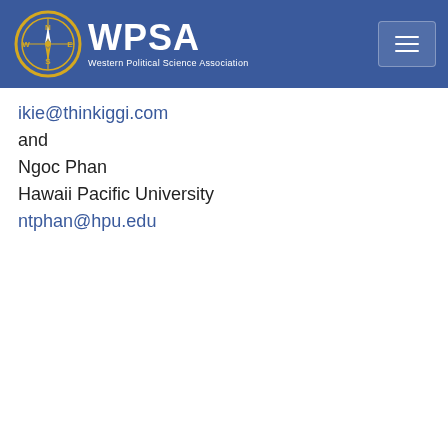WPSA - Western Political Science Association
ikie@thinkiggi.com
and
Ngoc Phan
Hawaii Pacific University
ntphan@hpu.edu